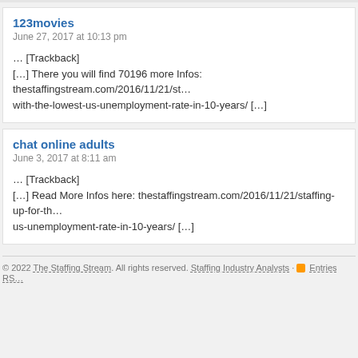123movies
June 27, 2017 at 10:13 pm
… [Trackback]
[…] There you will find 70196 more Infos: thestaffingstream.com/2016/11/21/st…with-the-lowest-us-unemployment-rate-in-10-years/ […]
chat online adults
June 3, 2017 at 8:11 am
… [Trackback]
[…] Read More Infos here: thestaffingstream.com/2016/11/21/staffing-up-for-th…us-unemployment-rate-in-10-years/ […]
© 2022 The Staffing Stream. All rights reserved. Staffing Industry Analysts · Entries RSS